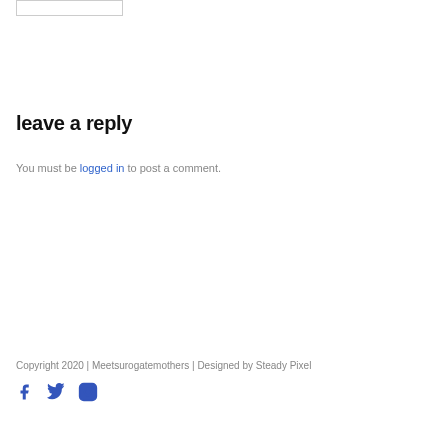[Figure (other): Search input box, partially visible at top of page]
leave a reply
You must be logged in to post a comment.
Copyright 2020 | Meetsurogatemothers | Designed by Steady Pixel
[Figure (other): Social media icons: Facebook, Twitter, Instagram in blue]